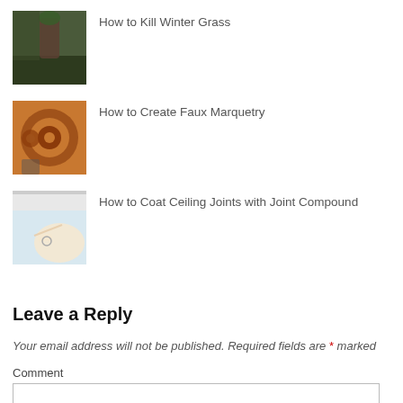How to Kill Winter Grass
How to Create Faux Marquetry
How to Coat Ceiling Joints with Joint Compound
Leave a Reply
Your email address will not be published. Required fields are * marked
Comment